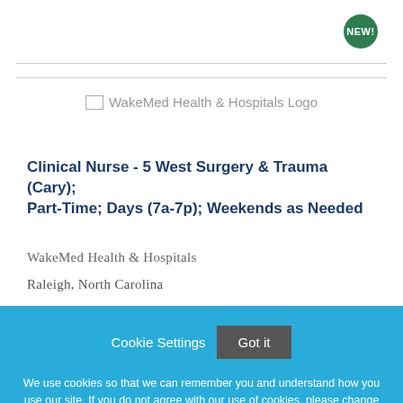[Figure (logo): WakeMed Health & Hospitals Logo placeholder image]
Clinical Nurse - 5 West Surgery & Trauma (Cary); Part-Time; Days (7a-7p); Weekends as Needed
WakeMed Health & Hospitals
Raleigh, North Carolina
Cookie Settings  Got it  We use cookies so that we can remember you and understand how you use our site. If you do not agree with our use of cookies, please change the current settings found in our Cookie Policy. Otherwise, you agree to the use of the cookies as they are currently set.